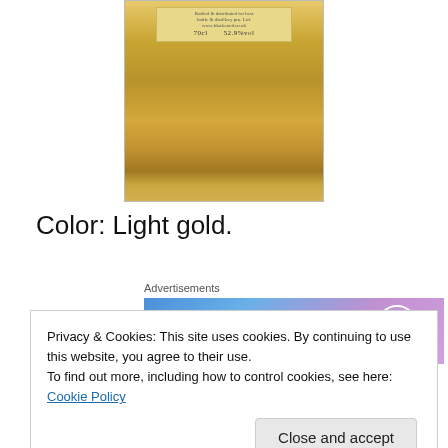[Figure (photo): Bottom portion of a bottle of whisky with a light gold amber liquid visible through the glass, with a label showing text including '70cl' and '52.9%']
Color: Light gold.
Advertisements
[Figure (other): WordPress.com advertisement banner with blue-purple gradient background reading 'Simplified pricing for everything you need.' with WordPress.com logo]
Nose: Acetone, unmistakable. Nail polish remover. Lots of
Privacy & Cookies: This site uses cookies. By continuing to use this website, you agree to their use.
To find out more, including how to control cookies, see here: Cookie Policy
again. Even though some might like it, it most definitely is